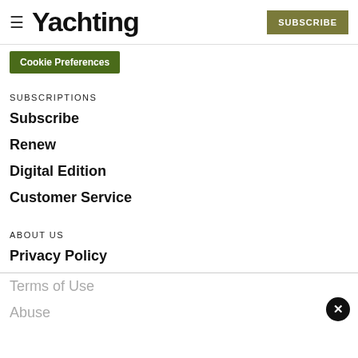Yachting | SUBSCRIBE
Cookie Preferences
SUBSCRIPTIONS
Subscribe
Renew
Digital Edition
Customer Service
ABOUT US
Privacy Policy
Terms of Use
Abuse